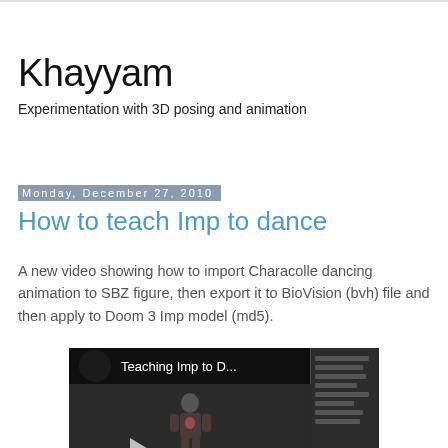Khayyam
Experimentation with 3D posing and animation
Monday, December 27, 2010
How to teach Imp to dance
A new video showing how to import Characolle dancing animation to SBZ figure, then export it to BioVision (bvh) file and then apply to Doom 3 Imp model (md5).
[Figure (screenshot): Video thumbnail showing 'Teaching Imp to D...' with a 3D character figure and a sidebar panel on the right]